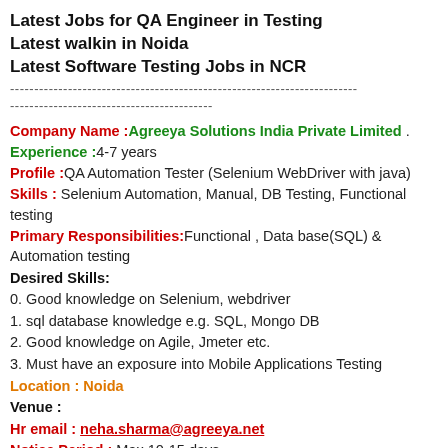Latest Jobs for QA Engineer in Testing
Latest walkin in Noida
Latest Software Testing Jobs in NCR
------------------------------------------------------------------------
------------------------------------------
Company Name :Agreeya Solutions India Private Limited .
Experience :4-7 years
Profile :QA Automation Tester (Selenium WebDriver with java)
Skills : Selenium Automation, Manual, DB Testing, Functional testing
Primary Responsibilities:Functional , Data base(SQL) & Automation testing
Desired Skills:
0. Good knowledge on Selenium, webdriver
1. sql database knowledge e.g. SQL, Mongo DB
2. Good knowledge on Agile, Jmeter etc.
3. Must have an exposure into Mobile Applications Testing
Location : Noida
Venue :
Hr email : neha.sharma@agreeya.net
Notice Period : Max 10-15 days